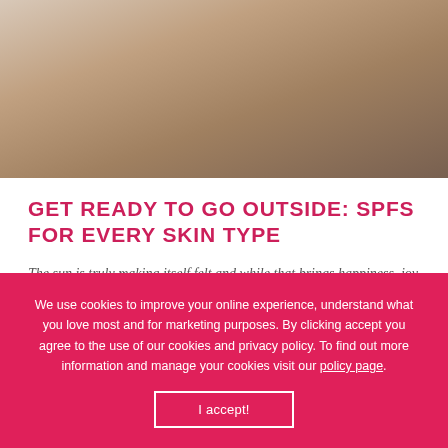[Figure (photo): Close-up photo of a smiling young Black woman with natural curly hair, hands raised to her cheeks, against a light gray background.]
GET READY TO GO OUTSIDE: SPFS FOR EVERY SKIN TYPE
The sun is truly making itself felt and while that brings happiness, joy and vitamin D, it also means more time outdoors. Get prepped with the best facial SPFs.
We use cookies to improve your online experience, understand what you love most and for marketing purposes. By clicking accept you agree to the use of our cookies and privacy policy. To find out more information and manage your cookies visit our policy page.
I accept!